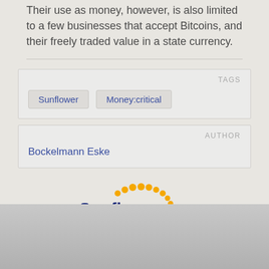Their use as money, however, is also limited to a few businesses that accept Bitcoins, and their freely traded value in a state currency.
TAGS
Sunflower   Money:critical
AUTHOR
Bockelmann Eske
[Figure (logo): Sunflower logo: text 'Sunflower' in dark blue with orange dotted arc above and to the right]